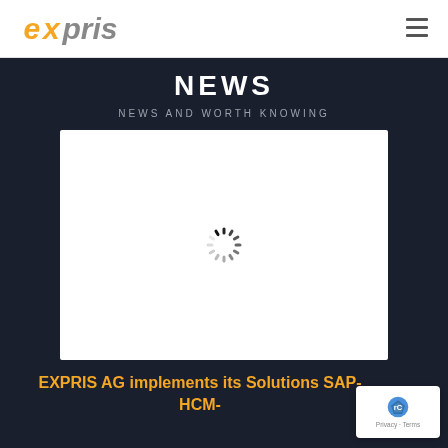[Figure (logo): EXPRIS company logo with orange E and X letters and grey PRIS text, italic style]
NEWS
NEWS AND WORTH KNOWING
[Figure (screenshot): White rectangle with loading spinner (circular dashed animation) in the center, on a dark background]
EXPRIS AG implements its Solutions SAP-HCM-